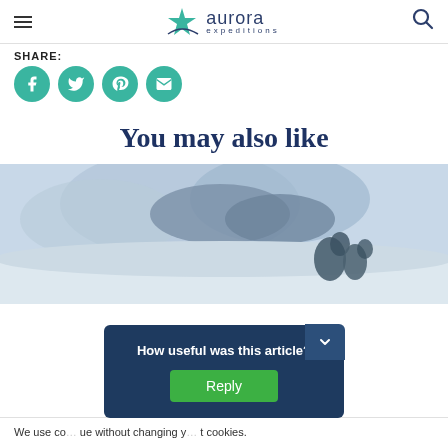aurora expeditions
SHARE:
[Figure (illustration): Four teal circular social media icon buttons: Facebook, Twitter, Pinterest, Email]
You may also like
[Figure (photo): Snowy mountain/arctic landscape with icy cliffs and snow in the foreground]
We use co... ue without changing y... t cookies.
[Figure (infographic): Popup overlay with dark blue background asking 'How useful was this article?' with a green Reply button]